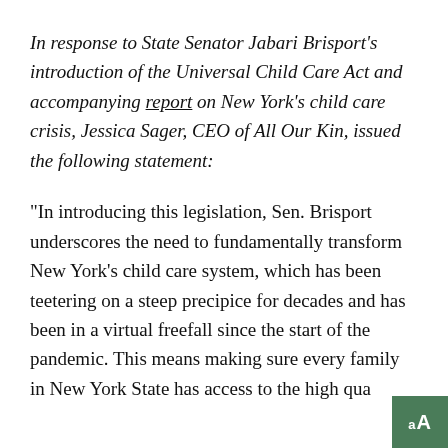In response to State Senator Jabari Brisport's introduction of the Universal Child Care Act and accompanying report on New York's child care crisis, Jessica Sager, CEO of All Our Kin, issued the following statement:
"In introducing this legislation, Sen. Brisport underscores the need to fundamentally transform New York's child care system, which has been teetering on a steep precipice for decades and has been in a virtual freefall since the start of the pandemic. This means making sure every family in New York State has access to the high qua